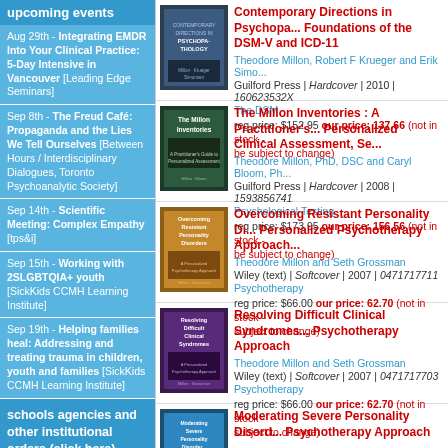upcoming events
Aug 29th - Integrating EMDR Into Your Clinical Practice: 5-Day Intensive in Vancouver [Leading Edge Seminars]
Sep 8th - The Freud Café: Propaganda and the Lies We Tell Ourselves [Between Hours / Interdisciplinary Dialogues, Toronto Psychoanalytic Society]
Sep 14th - Scientific Meeting: Complex Empathy [tps&i]
Sep 15th - Working with 2SLGBTQIA+ youth [SickKids CCMH Learning Institute]
Sep 19th - Helping families heal: Addressing and treating trauma in children, youth and families [SickKids CCMH Learning Institute]
schools agencies and other institutional orders (click here)
Contemporary Directions in Psychopa... Foundations of the DSM-V and ICD-11
Theodore Millon, Robert F Krueger and Erik Simo...
Guilford Press | Hardcover | 2010 | 160623532X
The DSM
reg price: $152.95 our price: 137.66 (not in stock - be subject to change)
The Millon Inventories : A Practitioner's... Personalized Clinical Assessment, Se...
Theodore Millon, PhD, DSC and Caryl Bloom, Ph...
Guilford Press | Hardcover | 2008 | 1593856741
Psychological Testing
reg price: $173.95 our price: 156.56 (not in stock - be subject to change)
Overcoming Resistant Personality Di... Personalized Psychotherapy Approach...
Theodore Millon and Seth Grossman
Wiley (text) | Softcover | 2007 | 0471717711
Psychotherapy
reg price: $66.00 our price: 62.70 (not in stock - subject to change)
Resolving Difficult Clinical Syndromes... Psychotherapy Approach
Theodore Millon and Seth Grossman
Wiley (text) | Softcover | 2007 | 0471717703
Psychotherapy
reg price: $66.00 our price: 62.70 (not in stock - subject to change)
Moderating Severe Personality Disord... Psychotherapy Approach